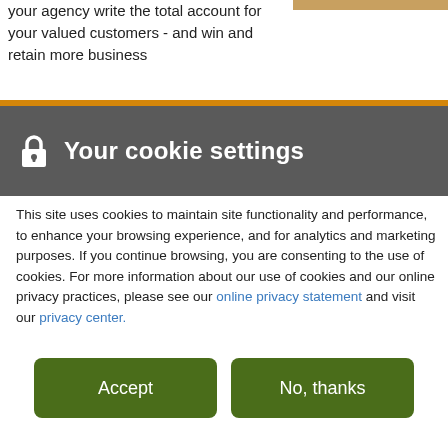your agency write the total account for your valued customers - and win and retain more business
[Figure (photo): Partial photo visible at top right corner]
Your cookie settings
This site uses cookies to maintain site functionality and performance, to enhance your browsing experience, and for analytics and marketing purposes. If you continue browsing, you are consenting to the use of cookies. For more information about our use of cookies and our online privacy practices, please see our online privacy statement and visit our privacy center.
Accept
No, thanks